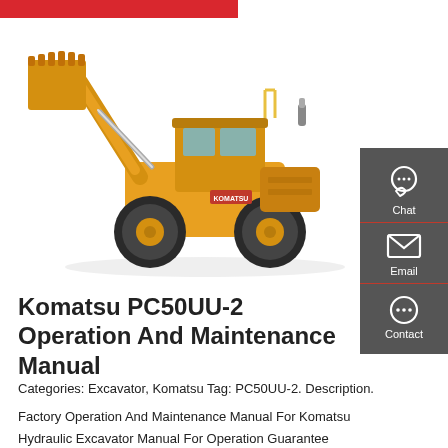[Figure (photo): Yellow Komatsu wheel loader / front-end loader with raised bucket arm, photographed from the front-right side on white background.]
Komatsu PC50UU-2 Operation And Maintenance Manual
Categories: Excavator, Komatsu Tag: PC50UU-2. Description.
Factory Operation And Maintenance Manual For Komatsu Hydraulic Excavator Manual For Operation Guarantee